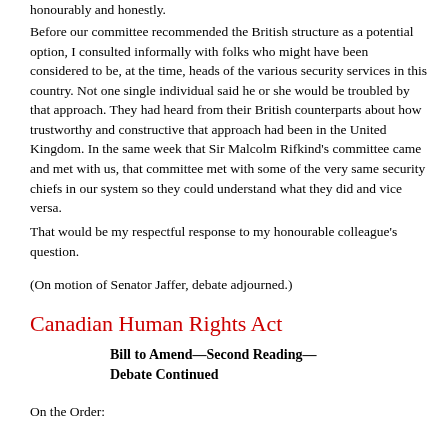honourably and honestly.
Before our committee recommended the British structure as a potential option, I consulted informally with folks who might have been considered to be, at the time, heads of the various security services in this country. Not one single individual said he or she would be troubled by that approach. They had heard from their British counterparts about how trustworthy and constructive that approach had been in the United Kingdom. In the same week that Sir Malcolm Rifkind's committee came and met with us, that committee met with some of the very same security chiefs in our system so they could understand what they did and vice versa.
That would be my respectful response to my honourable colleague's question.
(On motion of Senator Jaffer, debate adjourned.)
Canadian Human Rights Act
Bill to Amend—Second Reading—Debate Continued
On the Order: